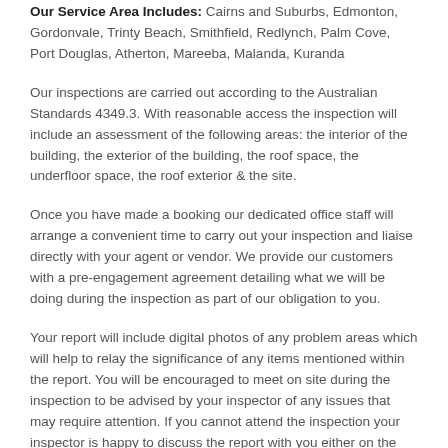Our Service Area Includes: Cairns and Suburbs, Edmonton, Gordonvale, Trinty Beach, Smithfield, Redlynch, Palm Cove, Port Douglas, Atherton, Mareeba, Malanda, Kuranda
Our inspections are carried out according to the Australian Standards 4349.3. With reasonable access the inspection will include an assessment of the following areas: the interior of the building, the exterior of the building, the roof space, the underfloor space, the roof exterior & the site.
Once you have made a booking our dedicated office staff will arrange a convenient time to carry out your inspection and liaise directly with your agent or vendor. We provide our customers with a pre-engagement agreement detailing what we will be doing during the inspection as part of our obligation to you.
Your report will include digital photos of any problem areas which will help to relay the significance of any items mentioned within the report. You will be encouraged to meet on site during the inspection to be advised by your inspector of any issues that may require attention. If you cannot attend the inspection your inspector is happy to discuss the report with you either on the phone, by Zoom or Facetime. Once your inspection has been completed, your